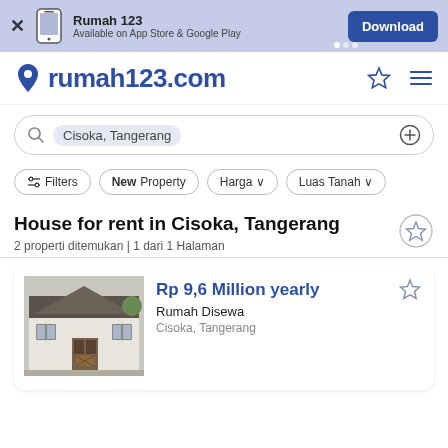[Figure (screenshot): App download banner for Rumah 123 with Download button]
rumah123.com
Cisoka, Tangerang (search bar)
Filters
New Property
Harga
Luas Tanah
House for rent in Cisoka, Tangerang
2 properti ditemukan | 1 dari 1 Halaman
[Figure (photo): Photo of a small house/Rumah for rent in Cisoka, Tangerang]
Rp 9,6 Million yearly
Rumah Disewa
Cisoka, Tangerang